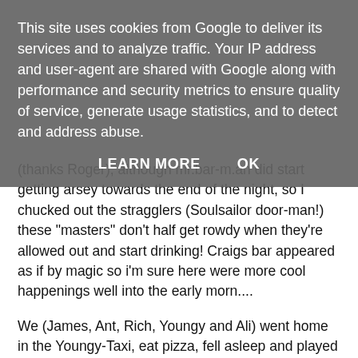This site uses cookies from Google to deliver its services and to analyze traffic. Your IP address and user-agent are shared with Google along with performance and security metrics to ensure quality of service, generate usage statistics, and to detect and address abuse.
LEARN MORE    OK
(thanks Roger), although mr.bar-m.an did start getting arsey towards the end of the night, so I chucked out the stragglers (Soulsailor door-man!) these "masters" don't half get rowdy when they're allowed out and start drinking! Craigs bar appeared as if by magic so i'm sure here were more cool happenings well into the early morn....
We (James, Ant, Rich, Youngy and Ali) went home in the Youngy-Taxi, eat pizza, fell asleep and played FIFA Street - top PS2 game...
So next day arrived, plenty to play for, stronger breeze, some black flag incidents/cock-ups? and well the results ended up like this: